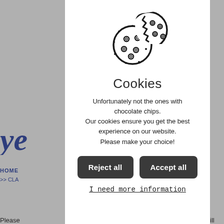[Figure (illustration): Cookie icon showing two cookies, one whole with chocolate chips and one bitten with chocolate chips, rendered as a black outline illustration]
Cookies
Unfortunately not the ones with chocolate chips. Our cookies ensure you get the best experience on our website. Please make your choice!
Reject all
Accept all
I need more information